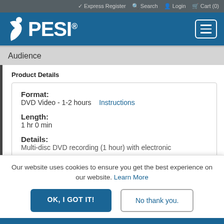✓ Express Register  Q Search  ☻ Login  🛒 Cart (0)
[Figure (logo): PESI logo with stylized figure icon on blue header background with hamburger menu button]
Audience
Product Details
Format:
DVD Video - 1-2 hours   Instructions

Length:
1 hr 0 min

Details:
Multi-disc DVD recording (1 hour) with electronic
Our website uses cookies to ensure you get the best experience on our website. Learn More
OK, I GOT IT!
No thank you.